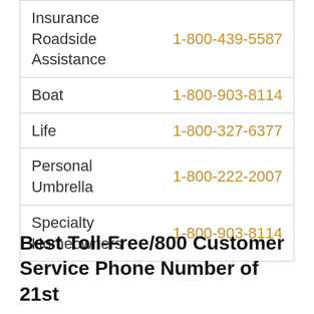| Insurance Type | Phone Number |
| --- | --- |
| Insurance
Roadside
Assistance | 1-800-439-5587 |
| Boat | 1-800-903-8114 |
| Life | 1-800-327-6377 |
| Personal Umbrella | 1-800-222-2007 |
| Specialty
Homeowners | 1-800-903-8114 |
Best Toll-Free/800 Customer Service Phone Number of 21st